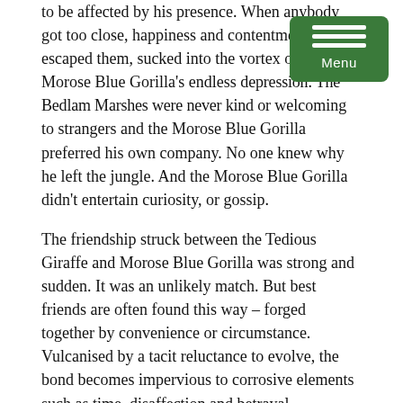to be affected by his presence. When anybody got too close, happiness and contentment simply escaped them, sucked into the vortex of the Morose Blue Gorilla's endless depression. The Bedlam Marshes were never kind or welcoming to strangers and the Morose Blue Gorilla preferred his own company. No one knew why he left the jungle. And the Morose Blue Gorilla didn't entertain curiosity, or gossip.
The friendship struck between the Tedious Giraffe and Morose Blue Gorilla was strong and sudden. It was an unlikely match. But best friends are often found this way – forged together by convenience or circumstance. Vulcanised by a tacit reluctance to evolve, the bond becomes impervious to corrosive elements such as time, disaffection and betrayal.
The Morose Blue Gorilla's coat fluctuated through the spectral aspects of aquatic formations to reflect his dark moods; from a barren ocean, and indigo sea to a flooded reservoir and briny estuary. In rare moments he hinted an emerald lagoon, or tropical embayment. Only once, stuck on a childhood memory did he reach near contentment and the